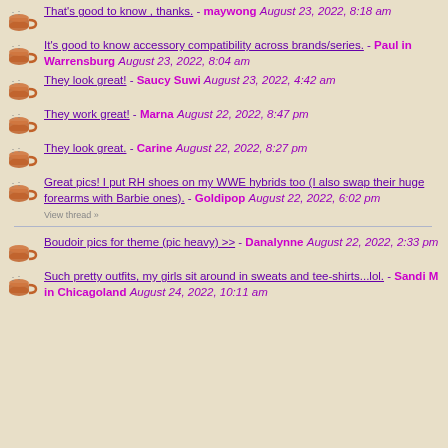That's good to know , thanks. - maywong August 23, 2022, 8:18 am
It's good to know accessory compatibility across brands/series. - Paul in Warrensburg August 23, 2022, 8:04 am
They look great! - Saucy Suwi August 23, 2022, 4:42 am
They work great! - Marna August 22, 2022, 8:47 pm
They look great. - Carine August 22, 2022, 8:27 pm
Great pics! I put RH shoes on my WWE hybrids too (I also swap their huge forearms with Barbie ones). - Goldipop August 22, 2022, 6:02 pm
View thread »
Boudoir pics for theme (pic heavy) >> - Danalynne August 22, 2022, 2:33 pm
Such pretty outfits, my girls sit around in sweats and tee-shirts...lol. - Sandi M in Chicagoland August 24, 2022, 10:11 am